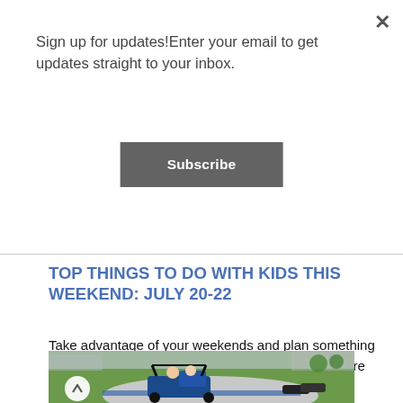Sign up for updates!Enter your email to get updates straight to your inbox.
Subscribe
TOP THINGS TO DO WITH KIDS THIS WEEKEND: JULY 20-22
Take advantage of your weekends and plan something fun for the whole family to enjoy! Explore somewhere different, take a...
[Figure (photo): A man and child riding a go-kart on a track surrounded by green grass and tire barriers, with a blue and white kart. A scroll-up button is visible in the lower left of the image.]